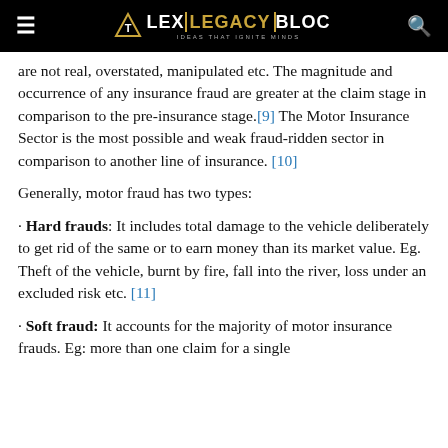LEX LEGACY BLOC — Ideas That Ignite Minds
are not real, overstated, manipulated etc. The magnitude and occurrence of any insurance fraud are greater at the claim stage in comparison to the pre-insurance stage.[9] The Motor Insurance Sector is the most possible and weak fraud-ridden sector in comparison to another line of insurance. [10]
Generally, motor fraud has two types:
· Hard frauds: It includes total damage to the vehicle deliberately to get rid of the same or to earn money than its market value. Eg. Theft of the vehicle, burnt by fire, fall into the river, loss under an excluded risk etc. [11]
· Soft fraud: It accounts for the majority of motor insurance frauds. Eg: more than one claim for a single